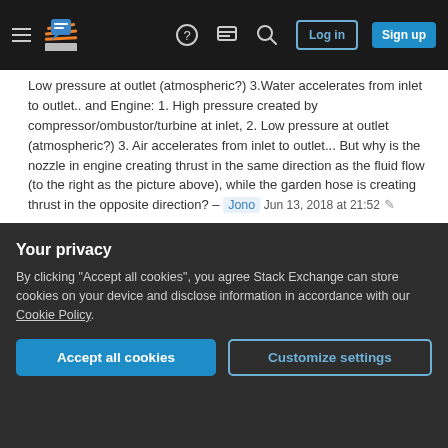Stack Exchange navigation bar with hamburger menu, logo, help, chat, search icons, Log in and Sign up buttons
Low pressure at outlet (atmospheric?) 3.Water accelerates from inlet to outlet.. and Engine: 1. High pressure created by compressor/ombustor/turbine at inlet, 2. Low pressure at outlet (atmospheric?) 3. Air accelerates from inlet to outlet... But why is the nozzle in engine creating thrust in the same direction as the fluid flow (to the right as the picture above), while the garden hose is creating thrust in the opposite direction? – Jono Jun 13, 2018 at 21:52 ✎
Add a comment
Your privacy
By clicking "Accept all cookies", you agree Stack Exchange can store cookies on your device and disclose information in accordance with our Cookie Policy.
Accept all cookies
Customize settings
They let you calculate a lot without looking at the